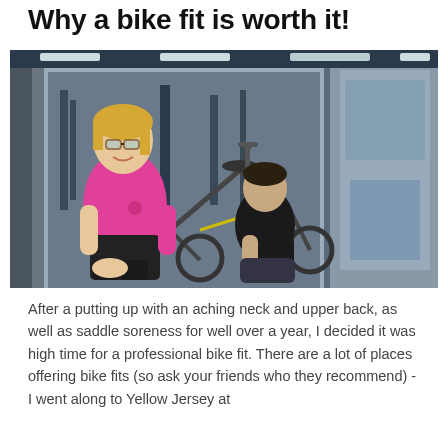Why a bike fit is worth it!
[Figure (photo): A woman in a pink t-shirt and black leggings sitting on a bicycle in a bike shop fitting room, smiling at the camera. Behind her, a technician in a black t-shirt is crouching down adjusting the bike. The shop background shows bicycles and cycling equipment on display.]
After a putting up with an aching neck and upper back, as well as saddle soreness for well over a year, I decided it was high time for a professional bike fit. There are a lot of places offering bike fits (so ask your friends who they recommend) - I went along to Yellow Jersey at